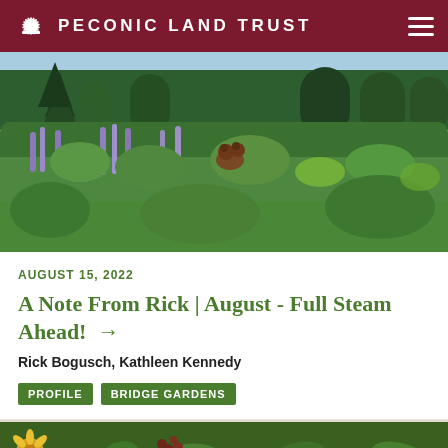PECONIC LAND TRUST
[Figure (photo): Lush garden landscape with dense green foliage, flowering plants in shades of purple and green, sculpted hedges, large trees in the background, and a brown bear sculpture visible in the middle ground on a sunny summer day.]
AUGUST 15, 2022
A Note From Rick | August - Full Steam Ahead! →
Rick Bogusch, Kathleen Kennedy
PROFILE   BRIDGE GARDENS
[Figure (photo): Close-up of a garden with yellow flowers (black-eyed susans) and green leafy plants, partially visible at the bottom of the page.]